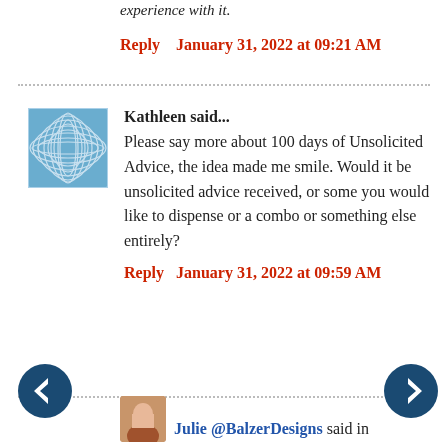experience with it.
Reply   January 31, 2022 at 09:21 AM
[Figure (illustration): Blue abstract wave pattern avatar for Kathleen]
Kathleen said...
Please say more about 100 days of Unsolicited Advice, the idea made me smile. Would it be unsolicited advice received, or some you would like to dispense or a combo or something else entirely?
Reply   January 31, 2022 at 09:59 AM
[Figure (illustration): Left navigation arrow button (dark blue circle with white left arrow)]
[Figure (illustration): Right navigation arrow button (dark blue circle with white right arrow)]
[Figure (photo): Small profile photo of Julie @BalzerDesigns]
Julie @BalzerDesigns said in